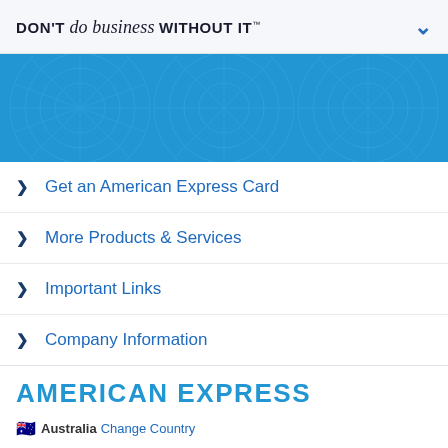DON'T do business WITHOUT IT™
[Figure (illustration): Blue decorative banner with circular/sunburst pattern texture in lighter blue]
Get an American Express Card
More Products & Services
Important Links
Company Information
AMERICAN EXPRESS
Australia  Change Country